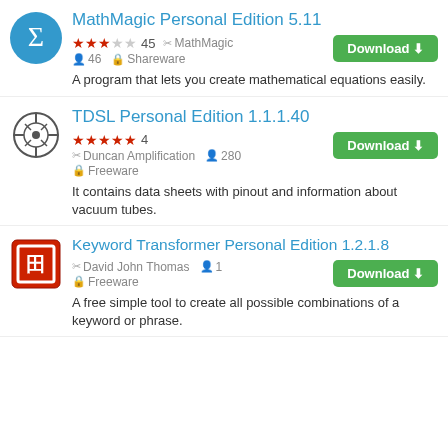MathMagic Personal Edition 5.11
★★★☆☆ 45  ✂ MathMagic  👤46  Ⓡ Shareware
A program that lets you create mathematical equations easily.
TDSL Personal Edition 1.1.1.40
★★★★★ 4  ✂ Duncan Amplification  👤280  Ⓡ Freeware
It contains data sheets with pinout and information about vacuum tubes.
Keyword Transformer Personal Edition 1.2.1.8
✂ David John Thomas  👤1  Ⓡ Freeware
A free simple tool to create all possible combinations of a keyword or phrase.